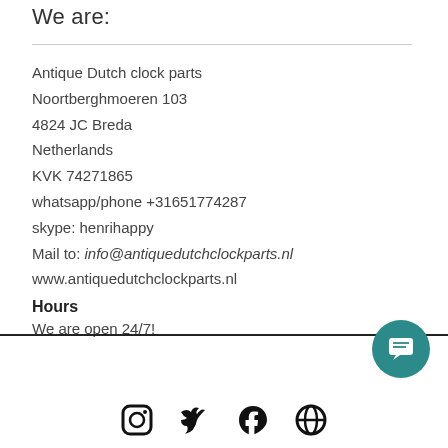We are:
Antique Dutch clock parts
Noortberghmoeren 103
4824 JC Breda
Netherlands
KVK 74271865
whatsapp/phone +31651774287
skype: henrihappy
Mail to: info@antiquedutchclockparts.nl
www.antiquedutchclockparts.nl
Hours
We are open 24/7!
[Figure (other): Teal circular chat/message button icon in the bottom-right corner]
[Figure (other): Social media icons (Instagram, Twitter, Facebook, Pinterest) partially visible at the bottom of the page]